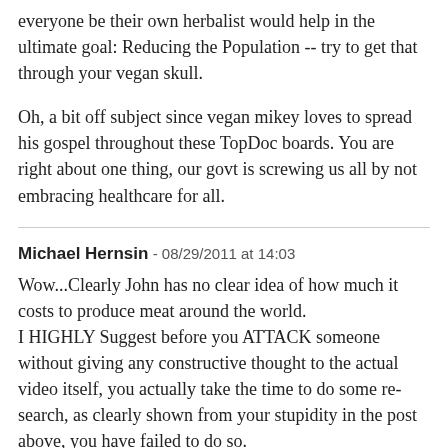everyone be their own herbalist would help in the ultimate goal: Reducing the Population -- try to get that through your vegan skull.
Oh, a bit off subject since vegan mikey loves to spread his gospel throughout these TopDoc boards. You are right about one thing, our govt is screwing us all by not embracing healthcare for all.
Michael Hernsin - 08/29/2011 at 14:03
Wow...Clearly John has no clear idea of how much it costs to produce meat around the world.
I HIGHLY Suggest before you ATTACK someone without giving any constructive thought to the actual video itself, you actually take the time to do some re-search, as clearly shown from your stupidity in the post above, you have failed to do so.